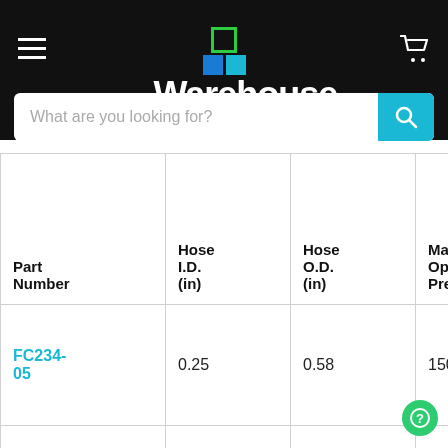[Figure (logo): Hose Warehouse logo with hamburger menu and cart icon on black header background]
| Part Number | Hose I.D. (in) | Hose O.D. (in) | Max. Operating Pressure(PSI) | Min Pre... |
| --- | --- | --- | --- | --- |
| FC234-05 | 0.25 | 0.58 | 1500 | 600 |
| FC234-06 | 0.31 | 0.68 | 1500 | 600 |